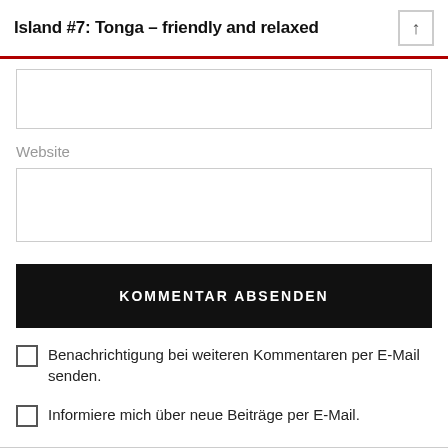Island #7: Tonga – friendly and relaxed
Website
KOMMENTAR ABSENDEN
Benachrichtigung bei weiteren Kommentaren per E-Mail senden.
Informiere mich über neue Beiträge per E-Mail.